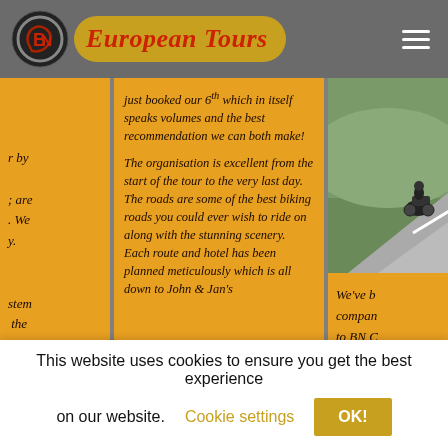BN European Tours
r by ... are . We y.  stem  the
just booked our 6th which in itself speaks volumes and the best recommendation we can both make! The organisation is excellent from the start of the tour to the very last day. The roads are some of the best biking roads you could ever wish to ride on along with the stunning scenery. Each route and hotel has been planned meticulously which is all down to John & Jan's
[Figure (photo): Motorcyclist riding on a winding road with greenery in background]
We've b compan to BN C
This website uses cookies to ensure you get the best experience on our website.
Cookie settings
OK!